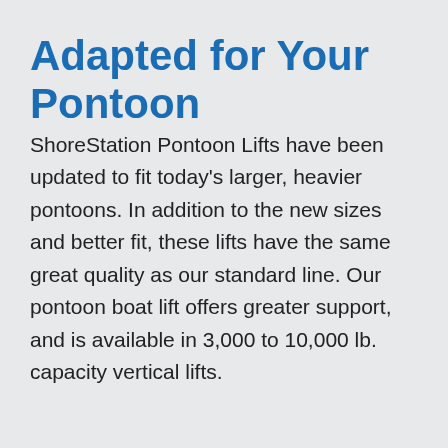Adapted for Your Pontoon
ShoreStation Pontoon Lifts have been updated to fit today's larger, heavier pontoons. In addition to the new sizes and better fit, these lifts have the same great quality as our standard line. Our pontoon boat lift offers greater support, and is available in 3,000 to 10,000 lb. capacity vertical lifts.